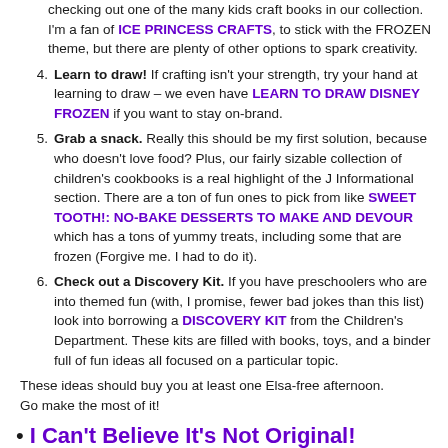checking out one of the many kids craft books in our collection. I'm a fan of ICE PRINCESS CRAFTS, to stick with the FROZEN theme, but there are plenty of other options to spark creativity.
4. Learn to draw! If crafting isn't your strength, try your hand at learning to draw – we even have LEARN TO DRAW DISNEY FROZEN if you want to stay on-brand.
5. Grab a snack. Really this should be my first solution, because who doesn't love food? Plus, our fairly sizable collection of children's cookbooks is a real highlight of the J Informational section. There are a ton of fun ones to pick from like SWEET TOOTH!: NO-BAKE DESSERTS TO MAKE AND DEVOUR which has a tons of yummy treats, including some that are frozen (Forgive me. I had to do it).
6. Check out a Discovery Kit. If you have preschoolers who are into themed fun (with, I promise, fewer bad jokes than this list) look into borrowing a DISCOVERY KIT from the Children's Department. These kits are filled with books, toys, and a binder full of fun ideas all focused on a particular topic.
These ideas should buy you at least one Elsa-free afternoon. Go make the most of it!
I Can't Believe It's Not Original!